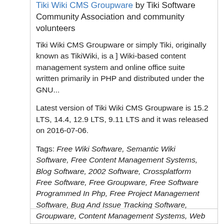Tiki Wiki CMS Groupware by Tiki Software Community Association and community volunteers
Tiki Wiki CMS Groupware or simply Tiki, originally known as TikiWiki, is a ] Wiki-based content management system and online office suite written primarily in PHP and distributed under the GNU...
Latest version of Tiki Wiki CMS Groupware is 15.2 LTS, 14.4, 12.9 LTS, 9.11 LTS and it was released on 2016-07-06.
Tags: Free Wiki Software, Semantic Wiki Software, Free Content Management Systems, Blog Software, 2002 Software, Crossplatform Free Software, Free Groupware, Free Software Programmed In Php, Free Project Management Software, Bug And Issue Tracking Software, Groupware, Content Management Systems, Web Applications